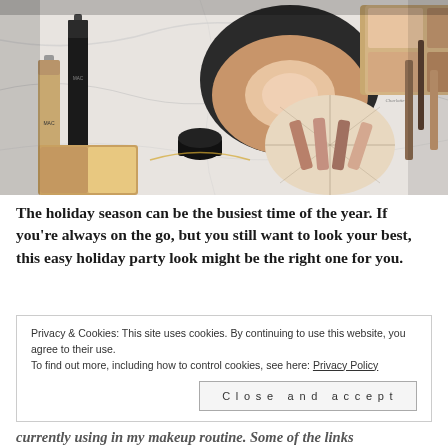[Figure (photo): Flat lay of various makeup and cosmetic products arranged on a marble surface, including MAC foundation, blush compact, eyeshadow palette, lip products in a patterned dish, and other cosmetics.]
The holiday season can be the busiest time of the year. If you're always on the go, but you still want to look your best, this easy holiday party look might be the right one for you.
Privacy & Cookies: This site uses cookies. By continuing to use this website, you agree to their use.
To find out more, including how to control cookies, see here: Privacy Policy
Close and accept
currently using in my makeup routine. Some of the links